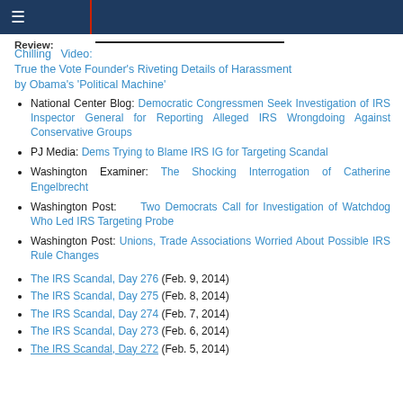Navigation header bar
Review: Chilling Video: True the Vote Founder's Riveting Details of Harassment by Obama's 'Political Machine'
National Center Blog: Democratic Congressmen Seek Investigation of IRS Inspector General for Reporting Alleged IRS Wrongdoing Against Conservative Groups
PJ Media: Dems Trying to Blame IRS IG for Targeting Scandal
Washington Examiner: The Shocking Interrogation of Catherine Engelbrecht
Washington Post: Two Democrats Call for Investigation of Watchdog Who Led IRS Targeting Probe
Washington Post: Unions, Trade Associations Worried About Possible IRS Rule Changes
The IRS Scandal, Day 276 (Feb. 9, 2014)
The IRS Scandal, Day 275 (Feb. 8, 2014)
The IRS Scandal, Day 274 (Feb. 7, 2014)
The IRS Scandal, Day 273 (Feb. 6, 2014)
The IRS Scandal, Day 272 (Feb. 5, 2014)